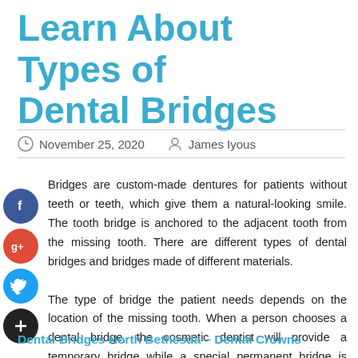Learn About Types of Dental Bridges
November 25, 2020   James Iyous
Bridges are custom-made dentures for patients without teeth or teeth, which give them a natural-looking smile. The tooth bridge is anchored to the adjacent tooth from the missing tooth. There are different types of dental bridges and bridges made of different materials. The type of bridge the patient needs depends on the location of the missing tooth. When a person chooses a dental bridge, the cosmetic dentist will provide a temporary bridge while a special permanent bridge is being created. You can get the best dental bridges by clicking at-
Dental Bridges North Bethesda – Dental Crowns